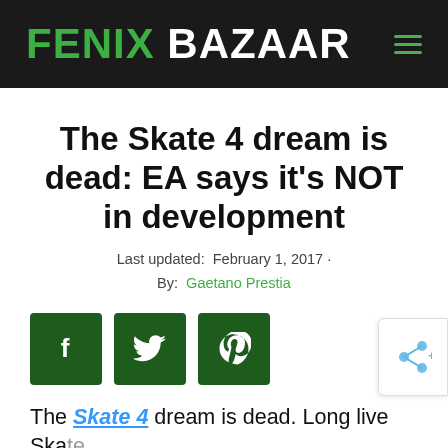FENIX BAZAAR
The Skate 4 dream is dead: EA says it's NOT in development
Last updated: February 1, 2017 ·
By: Gaetano Prestia
[Figure (infographic): Three dark green social share buttons: Facebook (f), Twitter (bird), Pinterest (p)]
The Skate 4 dream is dead. Long live Skate